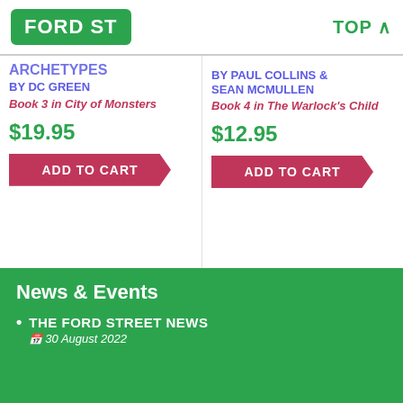FORD ST | TOP
Archetypes BY DC GREEN
Book 3 in City of Monsters
$19.95
ADD TO CART
BY PAUL COLLINS & SEAN MCMULLEN
Book 4 in The Warlock's Child
$12.95
ADD TO CART
News & Events
THE FORD STREET NEWS
30 August 2022